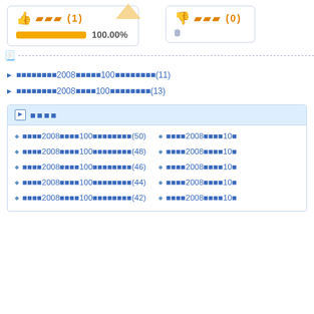[Figure (infographic): Thumbs up vote box showing 긍정 (1) with 100.00% bar and thumbs down vote box showing 부정 (0)]
▷ □□□□□□□□2008□□□□□100□□□□□□□□(11)
▷ □□□□□□□□2008□□□□100□□□□□□□□(13)
▶ □□□□
♦ □□□□2008□□□□100□□□□□□□□(50)
♦ □□□□2008□□□□100□□□□□□□□(48)
♦ □□□□2008□□□□100□□□□□□□□(46)
♦ □□□□2008□□□□100□□□□□□□□(44)
♦ □□□□2008□□□□100□□□□□□□□(42)